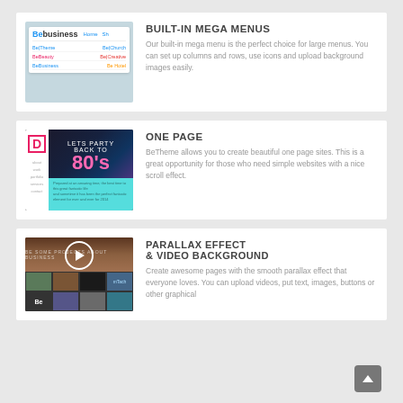[Figure (screenshot): Be Business website screenshot showing mega menu with navigation items including BeTheme, BeChurch, BeBeauty, BeCreative, BeBusiness, BeHotel]
BUILT-IN MEGA MENUS
Our built-in mega menu is the perfect choice for large menus. You can set up columns and rows, use icons and upload background images easily.
[Figure (screenshot): One page website screenshot showing 'Back to 80's' design with sidebar navigation and teal footer]
ONE PAGE
BeTheme allows you to create beautiful one page sites. This is a great opportunity for those who need simple websites with a nice scroll effect.
[Figure (screenshot): Parallax effect and video background screenshot showing dark background with grid of thumbnail images and a play button]
PARALLAX EFFECT & VIDEO BACKGROUND
Create awesome pages with the smooth parallax effect that everyone loves. You can upload videos, put text, images, buttons or other graphical